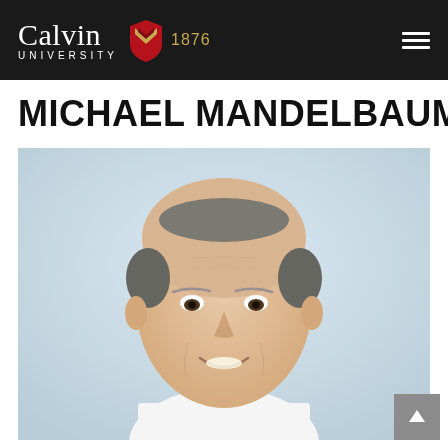Calvin University 1876
MICHAEL MANDELBAUM
[Figure (photo): Headshot photo of Michael Mandelbaum, a middle-aged bald man smiling, against a light blue-grey background]